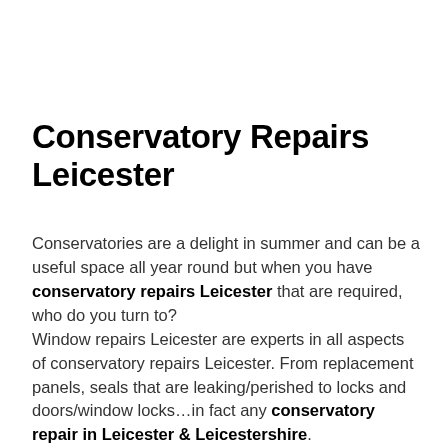Conservatory Repairs Leicester
Conservatories are a delight in summer and can be a useful space all year round but when you have conservatory repairs Leicester that are required, who do you turn to? Window repairs Leicester are experts in all aspects of conservatory repairs Leicester. From replacement panels, seals that are leaking/perished to locks and doors/window locks…in fact any conservatory repair in Leicester & Leicestershire.